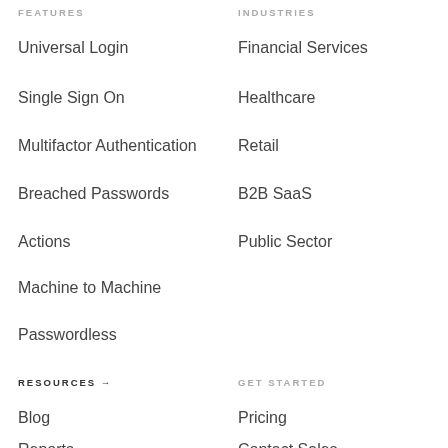FEATURES
Universal Login
Single Sign On
Multifactor Authentication
Breached Passwords
Actions
Machine to Machine
Passwordless
INDUSTRIES
Financial Services
Healthcare
Retail
B2B SaaS
Public Sector
RESOURCES →
Blog
Reports
GET STARTED
Pricing
Contact Sales